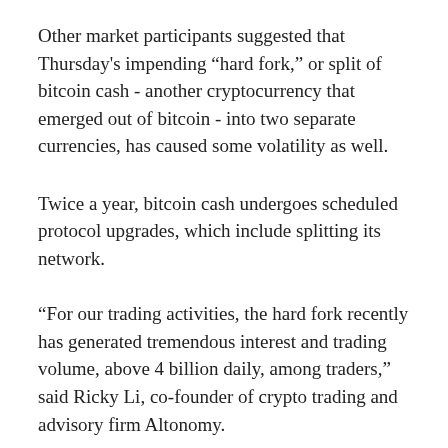Other market participants suggested that Thursday's impending “hard fork,” or split of bitcoin cash - another cryptocurrency that emerged out of bitcoin - into two separate currencies, has caused some volatility as well.
Twice a year, bitcoin cash undergoes scheduled protocol upgrades, which include splitting its network.
“For our trading activities, the hard fork recently has generated tremendous interest and trading volume, above 4 billion daily, among traders,” said Ricky Li, co-founder of crypto trading and advisory firm Altonomy.